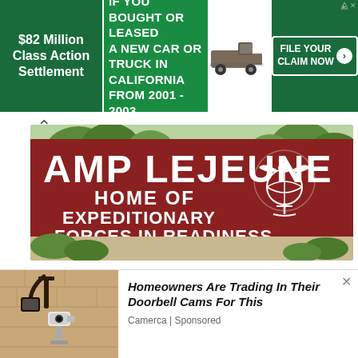[Figure (infographic): Advertisement banner: '$82 Million Class Action Settlement' on green background left, 'IF YOU BOUGHT OR LEASED A NEW CAR OR TRUCK IN CALIFORNIA FROM 2001 - 2003' in white bold text on green center, truck image, 'FILE YOUR CLAIM NOW' button on right]
[Figure (illustration): Illustrated Camp Lejeune entrance sign on red/brown background reading 'CAMP LEJEUNE HOME OF EXPEDITIONARY FORCES IN READINESS' with USMC eagle globe anchor emblem, surrounded by illustrated trees and bushes]
Are you or a loved one a Marine Corps vet who served at Camp Lejeune between 1953 and 1987?
[Figure (photo): Photo of a security camera mounted on a wall bracket outside a building]
Homeowners Are Trading In Their Doorbell Cams For This
Camerca | Sponsored